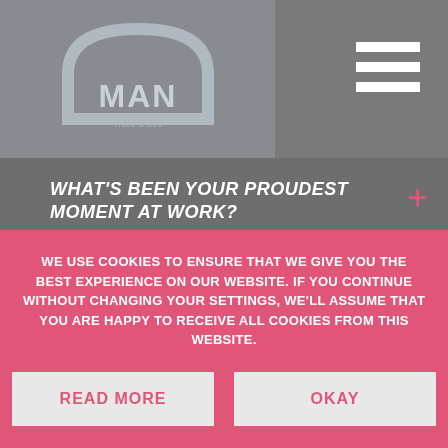[Figure (logo): MAN truck and bus logo in a grey box with pink left accent bar and hamburger menu icon on the right]
WHAT'S BEEN YOUR PROUDEST MOMENT AT WORK?
WHAT MAKES SOMEONE SUCCESSFUL HERE?
HOW HAVE YOU AND YOUR CAREER DEVELOPED
WE USE COOKIES TO ENSURE THAT WE GIVE YOU THE BEST EXPERIENCE ON OUR WEBSITE. IF YOU CONTINUE WITHOUT CHANGING YOUR SETTINGS, WE'LL ASSUME THAT YOU ARE HAPPY TO RECEIVE ALL COOKIES FROM THIS WEBSITE.
READ MORE
OKAY